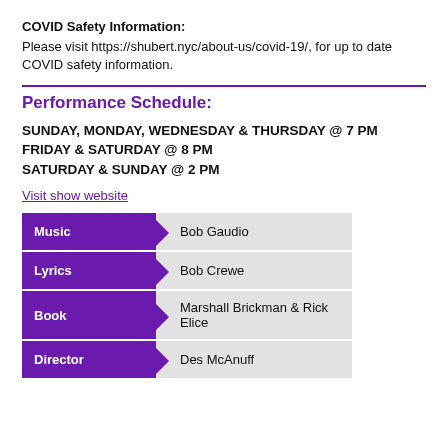COVID Safety Information:
Please visit https://shubert.nyc/about-us/covid-19/, for up to date COVID safety information.
Performance Schedule:
SUNDAY, MONDAY, WEDNESDAY & THURSDAY @ 7 PM
FRIDAY & SATURDAY @ 8 PM
SATURDAY & SUNDAY @ 2 PM
Visit show website
| Role | Name |
| --- | --- |
| Music | Bob Gaudio |
| Lyrics | Bob Crewe |
| Book | Marshall Brickman & Rick Elice |
| Director | Des McAnuff |